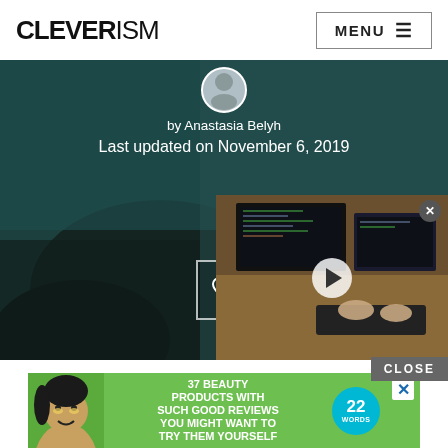CLEVERISM  MENU
[Figure (photo): Dark hero image of a person at a desk with teal/green background, showing author avatar and article metadata overlay]
by Anastasia Belyh
Last updated on November 6, 2019
[Figure (screenshot): Video overlay in bottom-right showing person working at dual monitor computer setup with play button]
CLOSE
[Figure (photo): Advertisement banner: 37 BEAUTY PRODUCTS WITH SUCH GOOD REVIEWS YOU MIGHT WANT TO TRY THEM YOURSELF, with smiling woman photo and 22 Words badge]